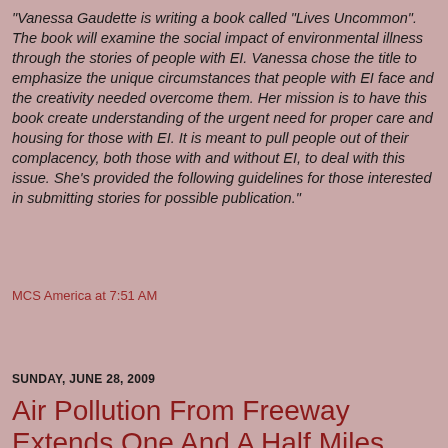"Vanessa Gaudette is writing a book called "Lives Uncommon".  The book will examine the social impact of environmental illness through the stories of people with EI.  Vanessa chose the title to emphasize the unique circumstances that people with EI face and the creativity needed overcome them.  Her mission is to have this book create understanding of the urgent need for proper care and housing for those with EI.  It is meant to pull people out of their complacency, both those with and without EI, to deal with this issue.  She's provided the following guidelines for those interested in submitting stories for possible publication."
MCS America at 7:51 AM
Share
SUNDAY, JUNE 28, 2009
Air Pollution From Freeway Extends One And A Half Miles Away